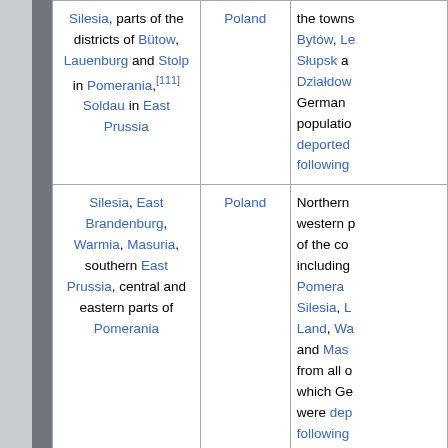|  | Region | Country | Description |
| --- | --- | --- | --- |
|  | Silesia, parts of the districts of Bütow, Lauenburg and Stolp in Pomerania,[111] Soldau in East Prussia | Poland | the towns of Bytów, Lębork, Słupsk and Działdowo... German population deported following... |
|  | Silesia, East Brandenburg, Warmia, Masuria, southern East Prussia, central and eastern parts of Pomerania | Poland | Northern and western parts of the country including Pomerania, Silesia, Land, Warmia and Masuria... from all of which Germans were deported following... |
|  | Northern East Prussia |  | The Kaliningrad Oblast exclave on the Baltic... from which Germans deported following... |